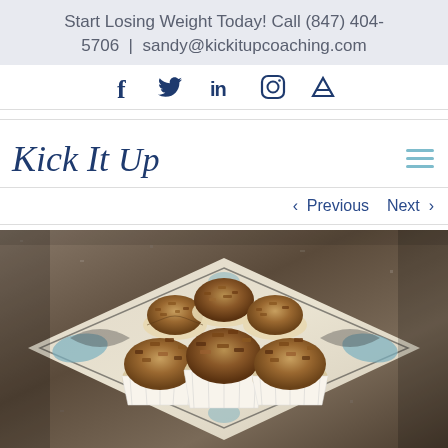Start Losing Weight Today! Call (847) 404-5706 | sandy@kickitupcoaching.com
[Figure (other): Social media icons: Facebook (f), Twitter (bird), LinkedIn (in), Instagram (camera), RSS (wifi symbol)]
Kick It Up
< Previous   Next >
[Figure (photo): Photo of streusel-topped muffins on a decorative black and white plate on a granite countertop]